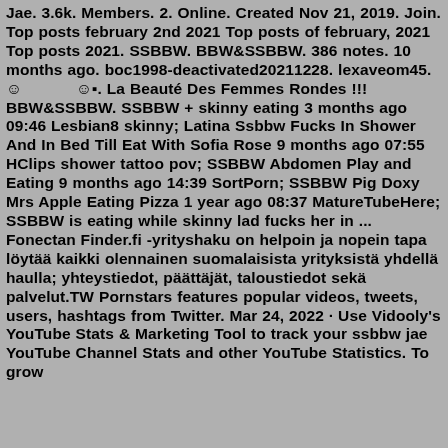Jae. 3.6k. Members. 2. Online. Created Nov 21, 2019. Join. Top posts february 2nd 2021 Top posts of february, 2021 Top posts 2021. SSBBW. BBW&SSBBW. 386 notes. 10 months ago. boc1998-deactivated20211228. lexaveom45. ☺ ☺■. La Beauté Des Femmes Rondes !!! BBW&SSBBW. SSBBW + skinny eating 3 months ago 09:46 Lesbian8 skinny; Latina Ssbbw Fucks In Shower And In Bed Till Eat With Sofia Rose 9 months ago 07:55 HClips shower tattoo pov; SSBBW Abdomen Play and Eating 9 months ago 14:39 SortPorn; SSBBW Pig Doxy Mrs Apple Eating Pizza 1 year ago 08:37 MatureTubeHere; SSBBW is eating while skinny lad fucks her in ... Fonectan Finder.fi -yrityshaku on helpoin ja nopein tapa löytää kaikki olennainen suomalaisista yrityksistä yhdellä haulla; yhteystiedot, päättäjät, taloustiedot sekä palvelut.TW Pornstars features popular videos, tweets, users, hashtags from Twitter. Mar 24, 2022 · Use Vidooly's YouTube Stats & Marketing Tool to track your ssbbw jae YouTube Channel Stats and other YouTube Statistics. To grow